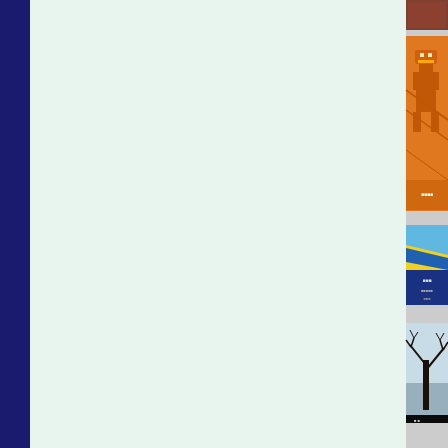[Figure (screenshot): Website screenshot showing a light mint/green main content area on the left with a dark navy blue vertical bar on the far left edge, and a right sidebar containing multiple partially visible book or album cover thumbnails stacked vertically. The thumbnails from top to bottom include: a small dark reddish-brown image at the very top, an orange cover with a robot/mechanical figure illustration, a yellow and blue cover with stylized lettering, a dark cover with bare tree branches against a light sky, a stormy gray-blue sky cover, and a gray cover with text beginning with 'P' visible.]